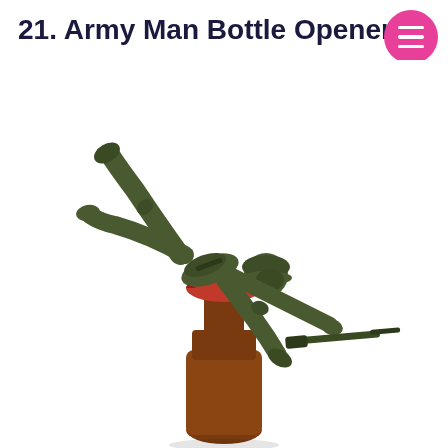21. Army Man Bottle Opener
[Figure (photo): A dark olive green toy army man figurine in a crawling/prone position, mounted on top of a beer bottle cap (red crown cap) as a bottle opener. The soldier figure holds a rifle and wears a helmet. The beer bottle below is amber/brown colored. The image is on a white background.]